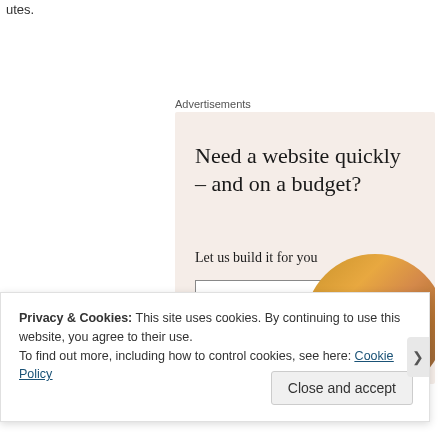utes.
Advertisements
[Figure (infographic): Advertisement banner with beige/cream background. Headline reads 'Need a website quickly – and on a budget?' with subtext 'Let us build it for you' and a button 'Let's get started'. A circular cropped photo of a person working on a laptop/tablet appears on the right side.]
Privacy & Cookies: This site uses cookies. By continuing to use this website, you agree to their use.
To find out more, including how to control cookies, see here: Cookie Policy
Close and accept